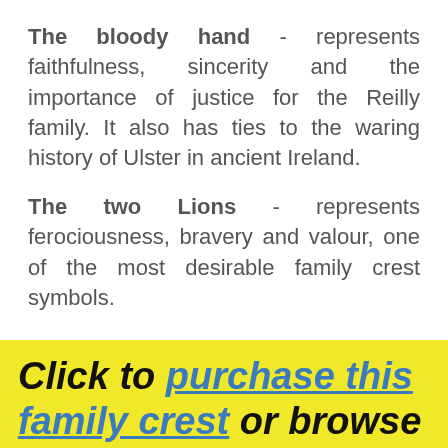The bloody hand - represents faithfulness, sincerity and the importance of justice for the Reilly family. It also has ties to the waring history of Ulster in ancient Ireland.
The two Lions - represents ferociousness, bravery and valour, one of the most desirable family crest symbols.
Click to purchase this family crest or browse